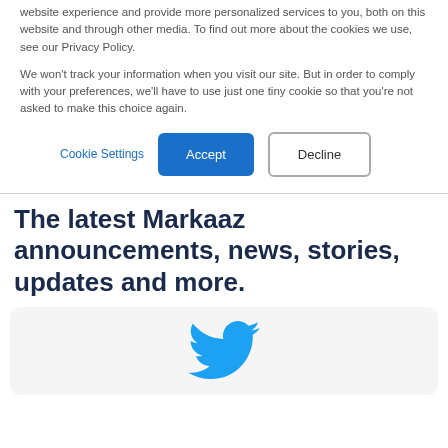website experience and provide more personalized services to you, both on this website and through other media. To find out more about the cookies we use, see our Privacy Policy.
We won't track your information when you visit our site. But in order to comply with your preferences, we'll have to use just one tiny cookie so that you're not asked to make this choice again.
Cookie Settings | Accept | Decline
The latest Markaaz announcements, news, stories, updates and more.
[Figure (logo): Twitter bird logo in blue inside a light gray rounded card]